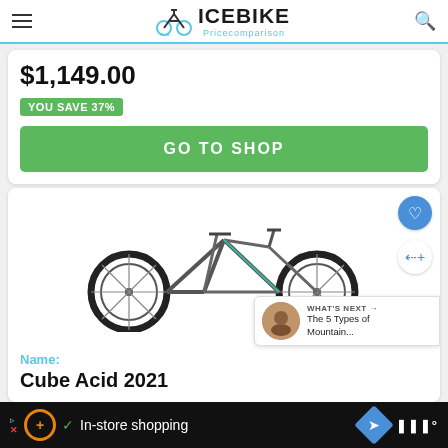ICEBIKE Pricecomparison
$1,149.00
YOU SAVE 37%
GO TO SHOP
[Figure (photo): Mountain bike (Cube Acid 2021) shown in side profile view, dark grey/black frame with large wheels]
WHAT'S NEXT → The 5 Types of Mountain...
Name:
Cube Acid 2021
In-store shopping